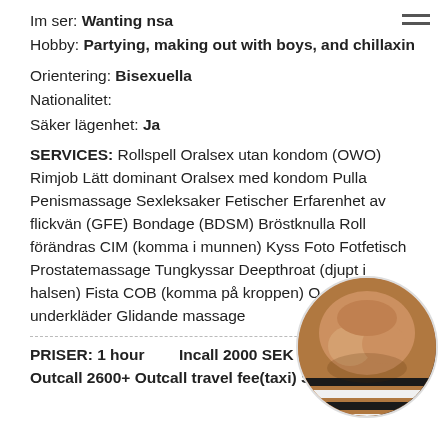Im ser: Wanting nsa
Hobby: Partying, making out with boys, and chillaxin
Orientering: Bisexuella
Nationalitet:
Säker lägenhet: Ja
SERVICES: Rollspell Oralsex utan kondom (OWO) Rimjob Lätt dominant Oralsex med kondom Pulla Penismassage Sexleksaker Fetischer Erfarenhet av flickvän (GFE) Bondage (BDSM) Bröstknulla Roll förändras CIM (komma i munnen) Kyss Foto Fotfetisch Prostatemassage Tungkyssar Deepthroat (djupt i halsen) Fista COB (komma på kroppen) O... ...a underkläder Glidande massage
[Figure (photo): Circular cropped photo of a person's torso]
PRISER: 1 hour    Incall 2000 SEK
Outcall 2600+ Outcall travel fee(taxi) SEK